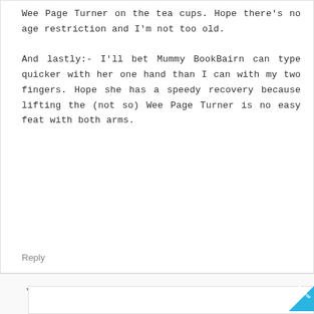Wee Page Turner on the tea cups. Hope there's no age restriction and I'm not too old.

And lastly:- I'll bet Mummy BookBairn can type quicker with her one hand than I can with my two fingers. Hope she has a speedy recovery because lifting the (not so) Wee Page Turner is no easy feat with both arms.
Reply
▾ Replies
BookBairn 9 June 2018 at 11:30